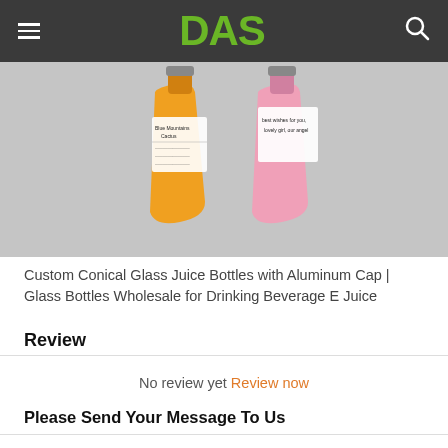DAS
[Figure (photo): Two conical glass juice bottles side by side on a textured grey surface. Left bottle is orange/amber colored with a white label reading 'Blue Mountains Cactus'. Right bottle is pink colored with a white label reading 'best wishes for you, lovely girl, our angel'.]
Custom Conical Glass Juice Bottles with Aluminum Cap | Glass Bottles Wholesale for Drinking Beverage E Juice
Review
No review yet Review now
Please Send Your Message To Us